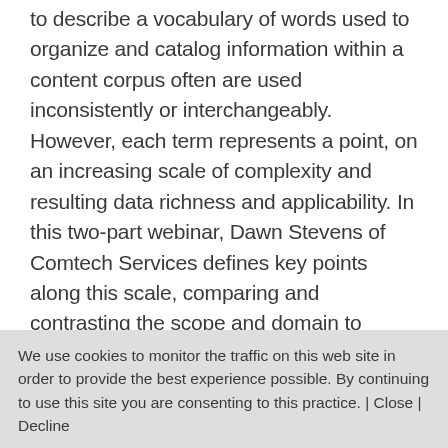to describe a vocabulary of words used to organize and catalog information within a content corpus often are used inconsistently or interchangeably. However, each term represents a point, on an increasing scale of complexity and resulting data richness and applicability. In this two-part webinar, Dawn Stevens of Comtech Services defines key points along this scale, comparing and contrasting the scope and domain to which each term applies, suggesting when each might be used, and recommending the processes for creating it. Dawn is joined by Rik Page of Bluestream, who will demonstrate real-life examples of each in use. Participants will
We use cookies to monitor the traffic on this web site in order to provide the best experience possible. By continuing to use this site you are consenting to this practice. | Close | Decline